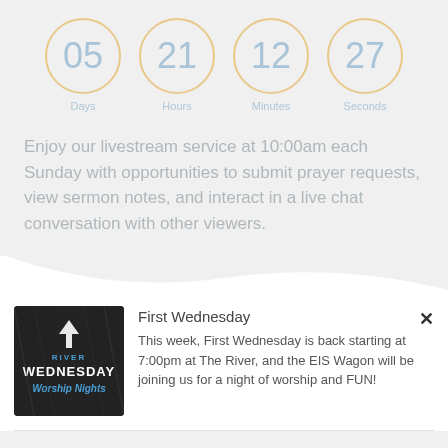[Figure (infographic): Countdown timer showing 4 circles with values: 05 Days, 21 Hours, 12 Minutes, 27 Seconds. Circles have gold/tan borders with light blue numbers.]
Enjoy our livestream service at 10:00am each Sunday with opportunities to submit prayer requests, view sermon notes, and interact in a live chat conversation with other viewers.
[Figure (photo): Dark textured background with white and blue text reading: RIVER WEDNESDAY Worship Nights with an upward arrow icon]
First Wednesday
This week, First Wednesday is back starting at 7:00pm at The River, and the EIS Wagon will be joining us for a night of worship and FUN!